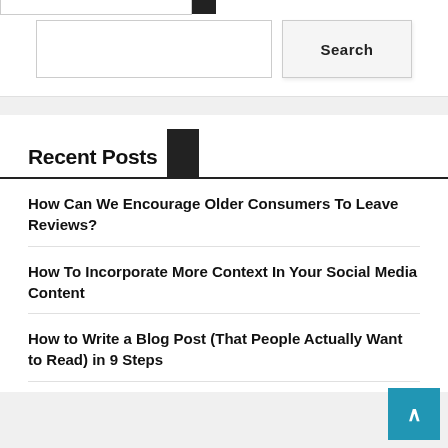[Figure (screenshot): Search bar with empty text input and a Search button]
Recent Posts
How Can We Encourage Older Consumers To Leave Reviews?
How To Incorporate More Context In Your Social Media Content
How to Write a Blog Post (That People Actually Want to Read) in 9 Steps